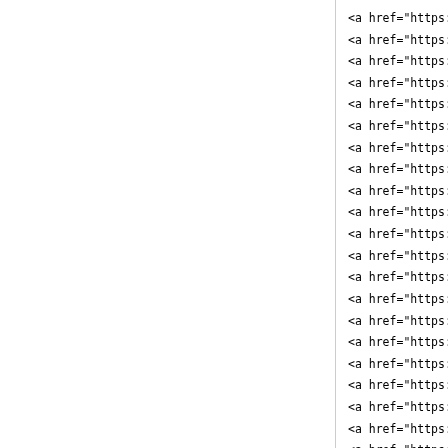<a href="https://www.jor
<a href="https://www.bal
<a href="https://www.nik
<a href="https://www.out
<a href="https://www.jor
<a href="https://www.mo
<a href="https://www.kyr
<a href="https://www.par
<a href="https://www.fitf
<a href="https://www.par
<a href="https://www.mo
<a href="https://www.nik
<a href="https://www.ggc
<a href="https://www.jan
<a href="https://www.jor
<a href="https://www.birk
<a href="https://www.nev
<a href="https://www.air-
<a href="https://www.nik
<a href="https://www.nev
<a href="https://www.jor
<a href="https://www.airr
<a href="https://www.fitf